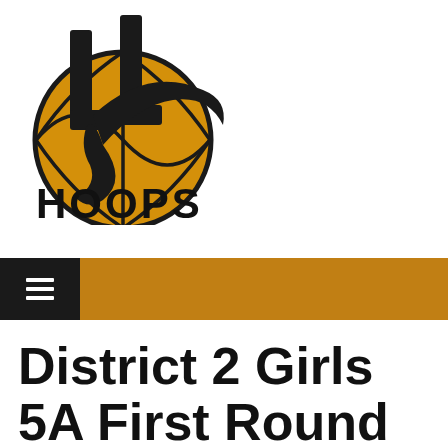[Figure (logo): LL Hoops basketball logo — orange basketball with stylized black LL letters and swoosh, with HOOPS text below]
District 2 Girls 5A First Round (Abington Heights vs. Twin